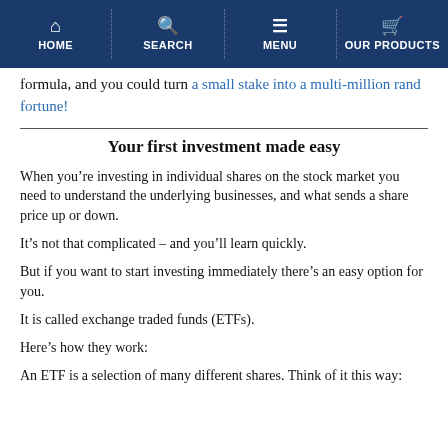HOME | SEARCH | MENU | OUR PRODUCTS
formula, and you could turn a small stake into a multi-million rand fortune!
Your first investment made easy
When you’re investing in individual shares on the stock market you need to understand the underlying businesses, and what sends a share price up or down.
It’s not that complicated – and you’ll learn quickly.
But if you want to start investing immediately there’s an easy option for you.
It is called exchange traded funds (ETFs).
Here’s how they work:
An ETF is a selection of many different shares. Think of it this way: